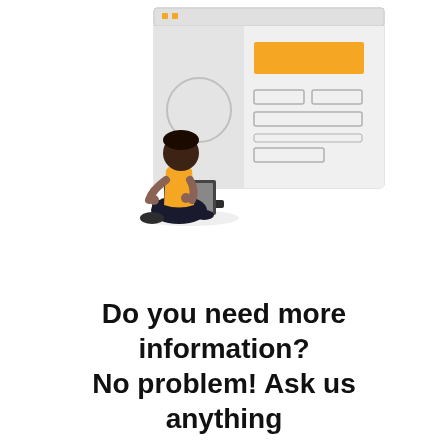[Figure (illustration): A person sitting cross-legged on the floor using a laptop, with a browser/UI wireframe mockup shown behind them. The wireframe shows a window with a circle on the left and an orange/yellow rectangle button on the right, along with some smaller input field rectangles below.]
Do you need more information?
No problem! Ask us anything